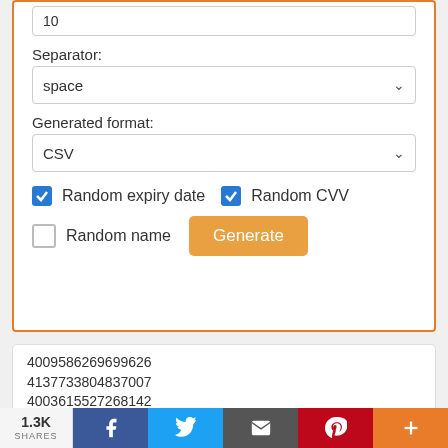10
Separator:
space
Generated format:
CSV
Random expiry date
Random CVV
Random name
Generate
4009586269699626
4137733804837007
4003615527268142
4035687559389676
4030734618511265
4223995811714512
4009583365233285
1.3K SHARES